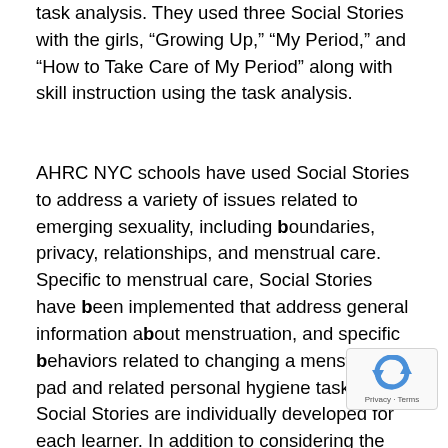task analysis. They used three Social Stories with the girls, "Growing Up," "My Period," and "How to Take Care of My Period" along with skill instruction using the task analysis.
AHRC NYC schools have used Social Stories to address a variety of issues related to emerging sexuality, including boundaries, privacy, relationships, and menstrual care. Specific to menstrual care, Social Stories have been implemented that address general information about menstruation, and specific behaviors related to changing a menstrual pad and related personal hygiene tasks. Social Stories are individually developed for each learner. In addition to considering the receptive language level and reading ability of the student, it's important to consider any variations in language used by the family for specific terms, such as "period" or "time of the month," etc. Consideration also needs to be given to